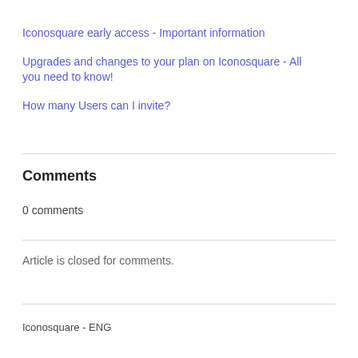Iconosquare early access - Important information
Upgrades and changes to your plan on Iconosquare - All you need to know!
How many Users can I invite?
Comments
0 comments
Article is closed for comments.
Iconosquare - ENG